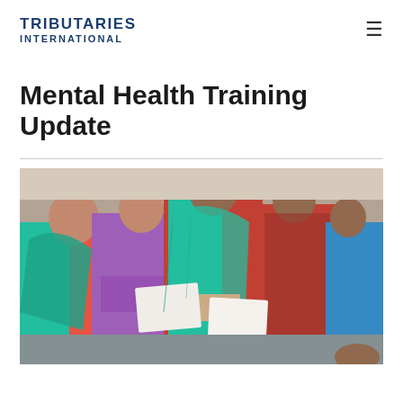TRIBUTARIES INTERNATIONAL
Mental Health Training Update
[Figure (photo): Group of women in colorful traditional South Asian clothing sitting together and writing on paper, appearing to be in a training or workshop session.]